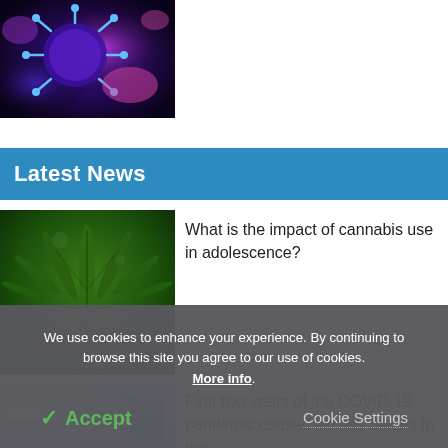[Figure (photo): Close-up microscopic image of a virus particle with blue and purple tones, spikes visible]
Latest News
[Figure (photo): Close-up photo of a cannabis/marijuana plant with green leaves]
What is the impact of cannabis use in adolescence?
[Figure (photo): Hospital room scene, partially visible, with patient and blue medical equipment]
First two years of the COVID-19 pandemic caused excess deaths in the
We use cookies to enhance your experience. By continuing to browse this site you agree to our use of cookies. More info.